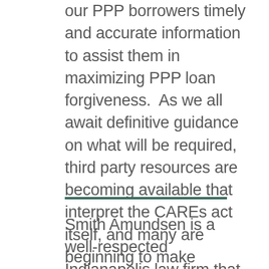our PPP borrowers timely and accurate information to assist them in maximizing PPP loan forgiveness. As we all await definitive guidance on what will be required, third party resources are becoming available that interpret the CAREs act itself, and many are beginning to make assumptions based upon what is in the act, the guidance and FAQ and other sources of SBA knowledge.
Smith Amundsen is a well-respected Indianapolis law firm that among other things specializes in banking law. They have published significant amounts of useful